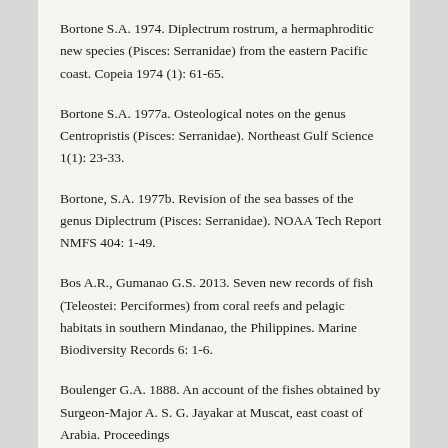Bortone S.A. 1974. Diplectrum rostrum, a hermaphroditic new species (Pisces: Serranidae) from the eastern Pacific coast. Copeia 1974 (1): 61-65.
Bortone S.A. 1977a. Osteological notes on the genus Centropristis (Pisces: Serranidae). Northeast Gulf Science 1(1): 23-33.
Bortone, S.A. 1977b. Revision of the sea basses of the genus Diplectrum (Pisces: Serranidae). NOAA Tech Report NMFS 404: 1-49.
Bos A.R., Gumanao G.S. 2013. Seven new records of fish (Teleostei: Perciformes) from coral reefs and pelagic habitats in southern Mindanao, the Philippines. Marine Biodiversity Records 6: 1-6.
Boulenger G.A. 1888. An account of the fishes obtained by Surgeon-Major A. S. G. Jayakar at Muscat, east coast of Arabia. Proceedings